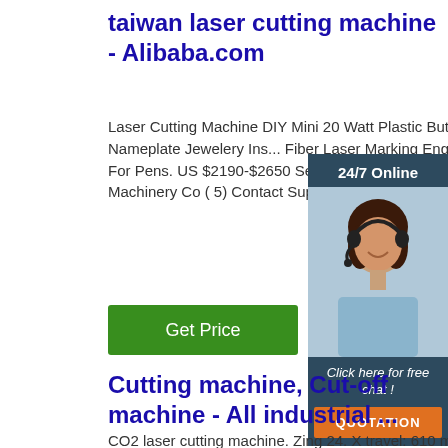taiwan laser cutting machine - Alibaba.com
Laser Cutting Machine DIY Mini 20 Watt Plastic Button Portable Nameplate Jewelery Ins... Fiber Laser Marking Engraving Cutting M... For Pens. US $2190-$2650 Set. 1 Set (M Order) 2 YRS Jinan L-Salt Machinery Co ( 5) Contact Supplier.
[Figure (photo): Chat support widget showing a female customer service representative with headset, with 24/7 Online header, Click here for free chat text, and QUOTATION button]
Cutting machine, Cut-off machine - All industrial ...
CO2 laser cutting machine. Zing 24. X travel: 610 mm. Y travel: 305 mm. Laser power: 50, 40, 60, 30 W. The Zing 24 series is manufactured by...